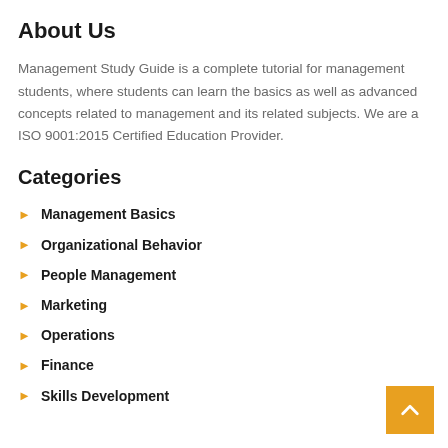About Us
Management Study Guide is a complete tutorial for management students, where students can learn the basics as well as advanced concepts related to management and its related subjects. We are a ISO 9001:2015 Certified Education Provider.
Categories
Management Basics
Organizational Behavior
People Management
Marketing
Operations
Finance
Skills Development